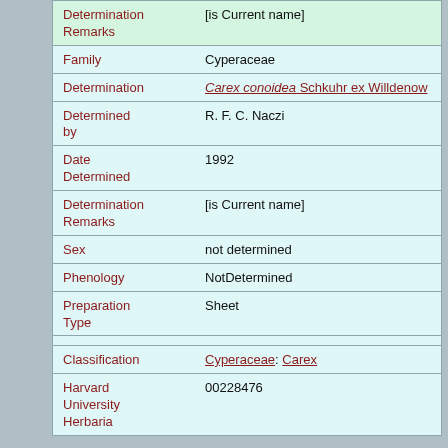| Field | Value |
| --- | --- |
| Determination Remarks | [is Current name] |
| Family | Cyperaceae |
| Determination | Carex conoidea Schkuhr ex Willdenow |
| Determined by | R. F. C. Naczi |
| Date Determined | 1992 |
| Determination Remarks | [is Current name] |
| Sex | not determined |
| Phenology | NotDetermined |
| Preparation Type | Sheet |
| Preparation Method | Pressed |
| Field | Value |
| --- | --- |
| Classification | Cyperaceae: Carex |
| Harvard University Herbaria | 00228476 |